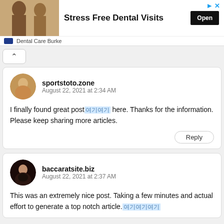[Figure (photo): Advertisement banner for Dental Care Burke: photo of person brushing teeth on left, 'Stress Free Dental Visits' headline with Open button, dental care logo and brand name at bottom]
sportstoto.zone
August 22, 2021 at 2:34 AM
I finally found great post여기 here. Thanks for the information. Please keep sharing more articles.
baccaratsite.biz
August 22, 2021 at 2:37 AM
This was an extremely nice post. Taking a few minutes and actual effort to generate a top notch article.여기여기여기